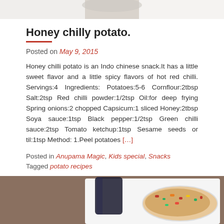[Figure (photo): Partially visible food photo at top of page]
Honey chilly potato.
Posted on May 9, 2015
Honey chilli potato is an Indo chinese snack.It has a little sweet flavor and a little spicy flavors of hot red chilli. Servings:4 Ingredients: Potatoes:5-6 Cornflour:2tbsp Salt:2tsp Red chilli powder:1/2tsp Oil:for deep frying Spring onions:2 chopped Capsicum:1 sliced Honey:2tbsp Soya sauce:1tsp Black pepper:1/2tsp Green chilli sauce:2tsp Tomato ketchup:1tsp Sesame seeds or til:1tsp Method: 1.Peel potatoes […]
Posted in Anupama Magic, Kids special, Snacks   Tagged potato recipes
[Figure (photo): Food photo showing a white plate with honey chilli potato dish and a dark glass, partially visible at bottom of page]